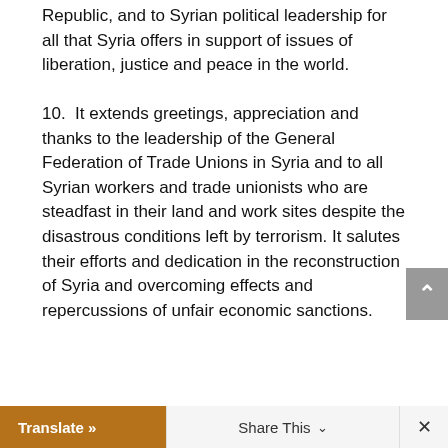Republic, and to Syrian political leadership for all that Syria offers in support of issues of liberation, justice and peace in the world.
10. It extends greetings, appreciation and thanks to the leadership of the General Federation of Trade Unions in Syria and to all Syrian workers and trade unionists who are steadfast in their land and work sites despite the disastrous conditions left by terrorism. It salutes their efforts and dedication in the reconstruction of Syria and overcoming effects and repercussions of unfair economic sanctions.
Translate »   Share This   ×